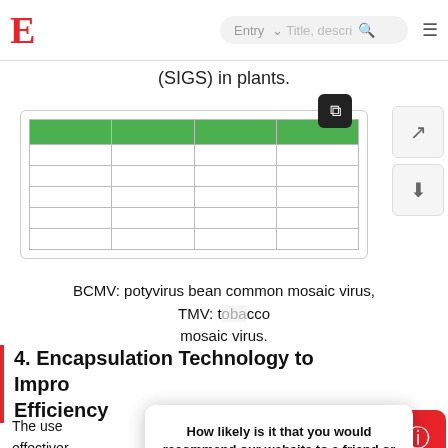E  Entry  Title, description  [search] [menu]
(SIGS) in plants.
[Figure (table-as-image): A table thumbnail with a green header row and multiple empty rows below, shown inside a rounded rectangle card with an expand button in the top-right corner.]
BCMV: potyvirus bean common mosaic virus, TMV: tobacco mosaic virus.
4. Encapsulation Technology to Improve Efficiency
The use … effectiveness … It confers protection … ng it from undergoing … ile, it is
How likely is it that you would recommend our website to a friend or colleague? Reply